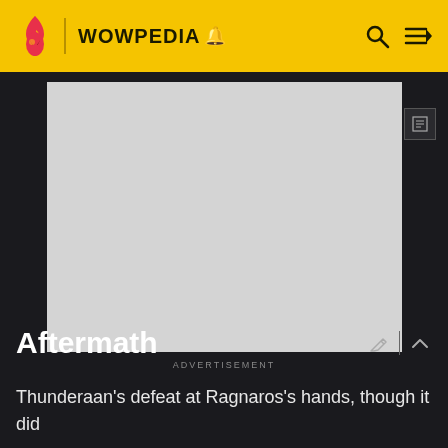WOWPEDIA
[Figure (other): Gray advertisement placeholder box]
ADVERTISEMENT
Aftermath
Thunderaan's defeat at Ragnaros's hands, though it did